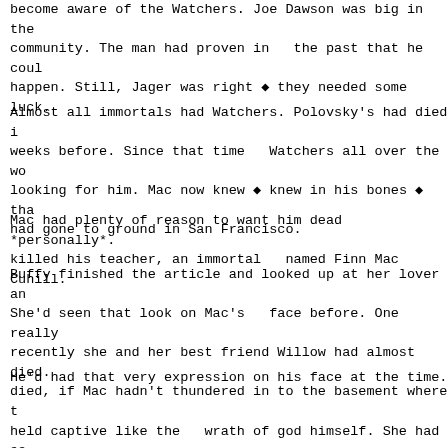become aware of the Watchers. Joe Dawson was big in the community. The man had proven in  the past that he could happen. Still, Jager was right ◆ they needed some luck.
Almost all immortals had Watchers. Polovsky's had died i weeks before. Since that time   Watchers all over the wo looking for him. Mac now knew ◆ knew in his bones ◆ tha had gone to ground in San Francisco.
Mac had plenty of reason to want him dead *personally*. killed his teacher, an immortal   named Finn Mac Cuhill.
Buffy finished the article and looked up at her lover an She'd seen that look on Mac's   face before. One really recently she and her best friend Willow had almost died. died, if Mac hadn't thundered in to the basement where t held captive like the   wrath of god himself. She had se literally tear the head off of a vampire that night.
He'd had that very expression on his face at the time.
Buffy sat with Thomas in the kitchen drinking coffee. Ma venting his frustration on one   of the two heavy punchi
"All right, Thomas, give," she ordered the Watcher. "I'm have a major wiggins here."
Jager looked at the young woman for a moment, wondering admired Buffy. He had some   idea of the horrors she'd d